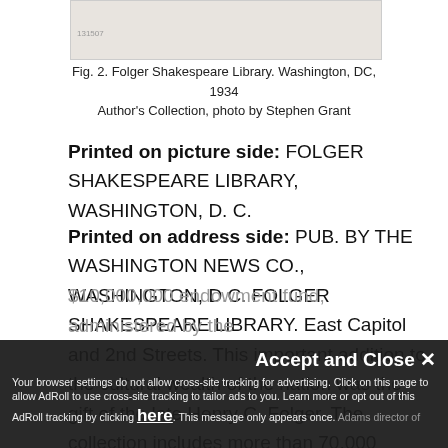[Figure (photo): Photograph of Folger Shakespeare Library, Washington DC, 1934]
Fig. 2. Folger Shakespeare Library. Washington, DC, 1934
Author's Collection, photo by Stephen Grant
Printed on picture side: FOLGER SHAKESPEARE LIBRARY, WASHINGTON, D. C.
Printed on address side: PUB. BY THE WASHINGTON NEWS CO., WASHINGTON, D.C. FOLGER SHAKESPEARE LIBRARY. East Capitol and 2nd Streets. This important addition to the cultural wealth of the nation was the gift of the late Henry C. Folger. The collection includes more than 70,000 volumes, as well as pictures and other relics of the great poet's life and work. The library has a $10,000,000 endowment fund, administered by the Adams director of